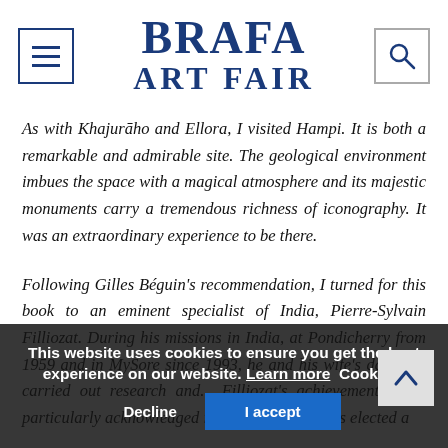BRAFA ART FAIR
As with Khajurāho and Ellora, I visited Hampi. It is both a remarkable and admirable site. The geological environment imbues the space with a magical atmosphere and its majestic monuments carry a tremendous richness of iconography. It was an extraordinary experience to be there.
Following Gilles Béguin's recommendation, I turned for this book to an eminent specialist of India, Pierre-Sylvain Filliozat. During his missions in India, at Pondicherry from 1959 and in MySore since 1993, he and his wife's daughter carried out research and... Filliozat's achievements were particularly acknowledged in 2000, when he was elected a...
This website uses cookies to ensure you get the best experience on our website. Learn more Cookie P...
Decline
I accept